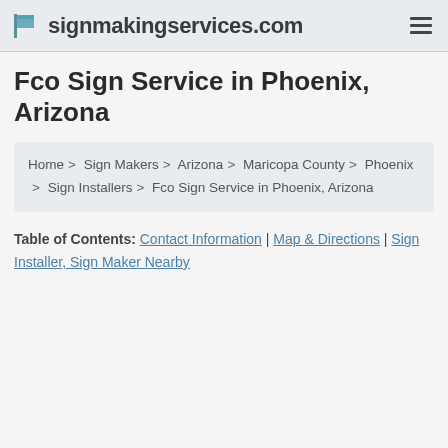signmakingservices.com
Fco Sign Service in Phoenix, Arizona
Home > Sign Makers > Arizona > Maricopa County > Phoenix > Sign Installers > Fco Sign Service in Phoenix, Arizona
Table of Contents: Contact Information | Map & Directions | Sign Installer, Sign Maker Nearby